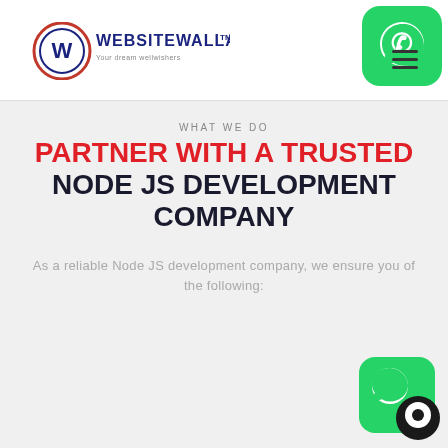[Figure (logo): WebsiteWalla logo with W emblem and TM mark]
[Figure (logo): WhatsApp green icon top right corner]
WHAT WE DO
PARTNER WITH A TRUSTED NODE JS DEVELOPMENT COMPANY
As a reliable Node JS development company, we ensure you of the following:
[Figure (logo): WhatsApp green icon with chat bubble overlay, bottom right corner]